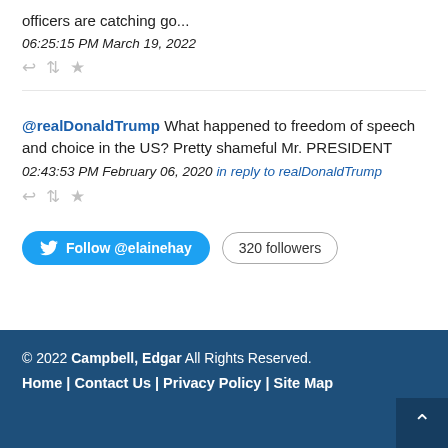officers are catching go... 06:25:15 PM March 19, 2022
@realDonaldTrump What happened to freedom of speech and choice in the US? Pretty shameful Mr. PRESIDENT 02:43:53 PM February 06, 2020 in reply to realDonaldTrump
[Figure (other): Follow @elainehay Twitter button and 320 followers count badge]
© 2022 Campbell, Edgar All Rights Reserved. Home | Contact Us | Privacy Policy | Site Map